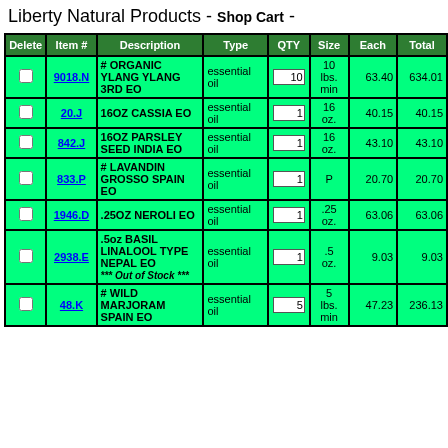Liberty Natural Products - Shop Cart -
| Delete | Item # | Description | Type | QTY | Size | Each | Total |
| --- | --- | --- | --- | --- | --- | --- | --- |
| ☐ | 9018.N | # ORGANIC YLANG YLANG 3RD EO | essential oil | 10 | 10 lbs. min | 63.40 | 634.01 |
| ☐ | 20.J | 16OZ CASSIA EO | essential oil | 1 | 16 oz. | 40.15 | 40.15 |
| ☐ | 842.J | 16OZ PARSLEY SEED INDIA EO | essential oil | 1 | 16 oz. | 43.10 | 43.10 |
| ☐ | 833.P | # LAVANDIN GROSSO SPAIN EO | essential oil | 1 | P | 20.70 | 20.70 |
| ☐ | 1946.D | .25OZ NEROLI EO | essential oil | 1 | .25 oz. | 63.06 | 63.06 |
| ☐ | 2938.E | .5oz BASIL LINALOOL TYPE NEPAL EO *** Out of Stock *** | essential oil | 1 | .5 oz. | 9.03 | 9.03 |
| ☐ | 48.K | # WILD MARJORAM SPAIN EO | essential oil | 5 | 5 lbs. min | 47.23 | 236.13 |